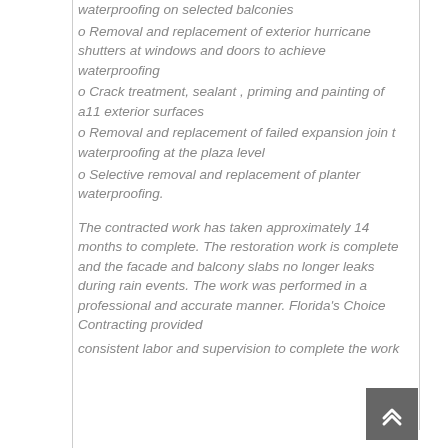waterproofing on selected balconies
o Removal and replacement of exterior hurricane shutters at windows and doors to achieve waterproofing
o Crack treatment, sealant , priming and painting of a11 exterior surfaces
o Removal and replacement of failed expansion join t waterproofing at the plaza level
o Selective removal and replacement of planter waterproofing.
The contracted work has taken approximately 14 months to complete. The restoration work is complete and the facade and balcony slabs no longer leaks during rain events. The work was performed in a professional and accurate manner. Florida's Choice Contracting provided
consistent labor and supervision to complete the work